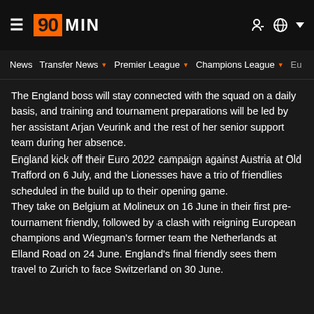90MIN — navigation header with News, Transfer News, Premier League, Champions League
The England boss will stay connected with the squad on a daily basis, and training and tournament preparations will be led by her assistant Arjan Veurink and the rest of her senior support team during her absence.
England kick off their Euro 2022 campaign against Austria at Old Trafford on 6 July, and the Lionesses have a trio of friendlies scheduled in the build up to their opening game.
They take on Belgium at Molineux on 16 June in their first pre-tournament friendly, followed by a clash with reigning European champions and Wiegman's former team the Netherlands at Elland Road on 24 June. England's final friendly sees them travel to Zurich to face Switzerland on 30 June.